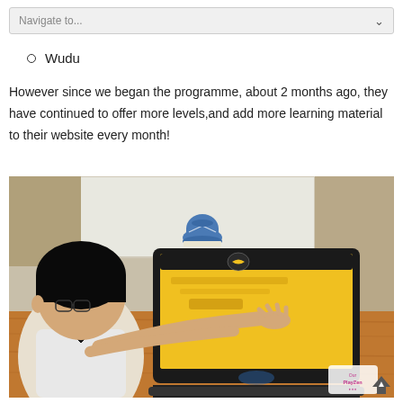Navigate to...
Wudu
However since we began the programme, about 2 months ago, they have continued to offer more levels,and add more learning material to their website every month!
[Figure (photo): A child sitting at a wooden table using a laptop showing a yellow-background website, with a decorative blue pot visible on a windowsill in the background.]